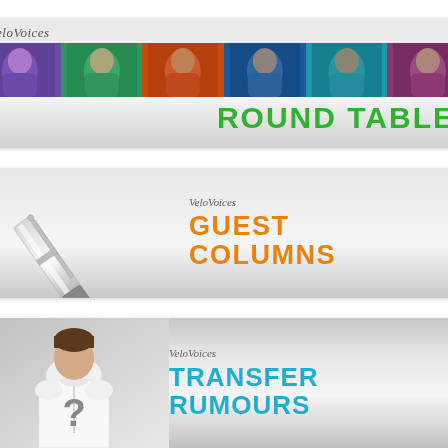[Figure (logo): VeloVoices Round Table banner with colorful pop-art style portrait photos and green bold text reading ROUND TABLE]
[Figure (logo): VeloVoices Guest Columns banner with fountain pen image on left and orange bold text reading GUEST COLUMNS]
[Figure (logo): VeloVoices Transfer Rumours banner with person wearing white jersey with question mark and blue bold text reading TRANSFER RUMOURS]